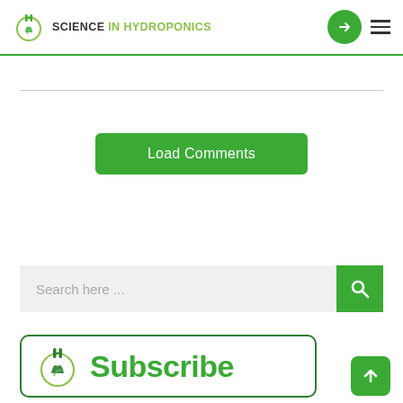SCIENCE IN HYDROPONICS
[Figure (other): Load Comments button - green rounded rectangle with white text]
[Figure (other): Search bar with gray input field and green search button]
[Figure (other): Subscribe banner with Science in Hydroponics logo and Subscribe text, green border]
[Figure (other): Back to top button - green rounded square with white upward arrow]